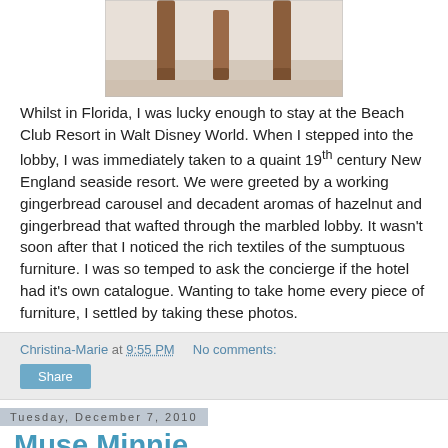[Figure (photo): Partial photo of furniture legs on a wooden floor, top portion of an image of a table or chair]
Whilst in Florida, I was lucky enough to stay at the Beach Club Resort in Walt Disney World. When I stepped into the lobby, I was immediately taken to a quaint 19th century New England seaside resort. We were greeted by a working gingerbread carousel and decadent aromas of hazelnut and gingerbread that wafted through the marbled lobby. It wasn't soon after that I noticed the rich textiles of the sumptuous furniture. I was so temped to ask the concierge if the hotel had it's own catalogue. Wanting to take home every piece of furniture, I settled by taking these photos.
Christina-Marie at 9:55 PM   No comments:
Share
Tuesday, December 7, 2010
Muse Minnie